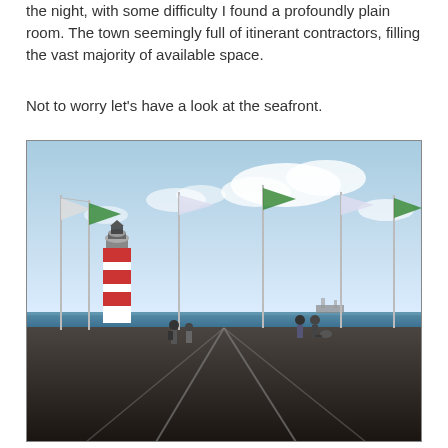the night, with some difficulty I found a profoundly plain room. The town seemingly full of itinerant contractors, filling the vast majority of available space.
Not to worry let's have a look at the seafront.
[Figure (photo): A seafront scene showing a red and white striped lighthouse with several tall flagpoles flying green and white flags. People are visible near the lighthouse and in the distance. The foreground is a wide dark tarmac/promenade area with painted lines. The sea and a pale blue sky with clouds are visible in the background.]